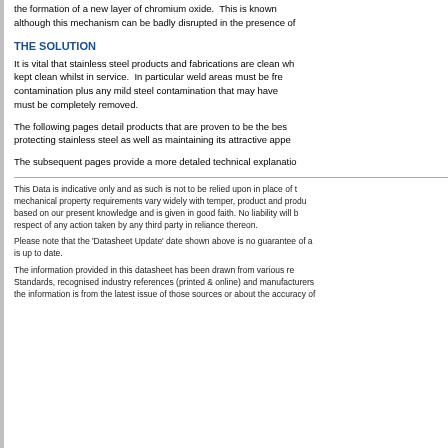the formation of a new layer of chromium oxide.  This is known although this mechanism can be badly disrupted in the presence of
THE SOLUTION
It is vital that stainless steel products and fabrications are clean wh kept clean whilst in service.  In particular weld areas must be fre contamination plus any mild steel contamination that may have must be completely removed.
The following pages detail products that are proven to be the bes protecting stainless steel as well as maintaining its attractive appe
The subsequent pages provide a more detaled technical explanatio
This Data is indicative only and as such is not to be relied upon in place of t mechanical property requirements vary widely with temper, product and produ based on our present knowledge and is given in good faith. No liability will b respect of any action taken by any third party in reliance thereon.
Please note that the 'Datasheet Update' date shown above is no guarantee of a is up to date.
The information provided in this datasheet has been drawn from various re Standards, recognised industry references (printed & online) and manufacturers the information is from the latest issue of those sources or about the accuracy of